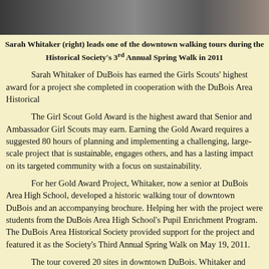[Figure (photo): Photo strip showing people on a downtown walking tour, cropped at top of page]
Sarah Whitaker (right) leads one of the downtown walking tours during the Historical Society's 3rd Annual Spring Walk in 2011
Sarah Whitaker of DuBois has earned the Girls Scouts' highest award for a project she completed in cooperation with the DuBois Area Historical Society.
The Girl Scout Gold Award is the highest award that Senior and Ambassador Girl Scouts may earn. Earning the Gold Award requires a suggested 80 hours of planning and implementing a challenging, large-scale project that is sustainable, engages others, and has a lasting impact on its targeted community with a focus on sustainability.
For her Gold Award Project, Whitaker, now a senior at DuBois Area High School, developed a historic walking tour of downtown DuBois and an accompanying brochure. Helping her with the project were students from the DuBois Area High School's Pupil Enrichment Program. The DuBois Area Historical Society provided support for the project and featured it as the Society's Third Annual Spring Walk on May 19, 2011.
The tour covered 20 sites in downtown DuBois. Whitaker and students from the Pupil Enrichment Program led the tour, explaining the history of the buildings at the stops. Forty people attended the walk.
Using the brochure, others may take the tour on their own.